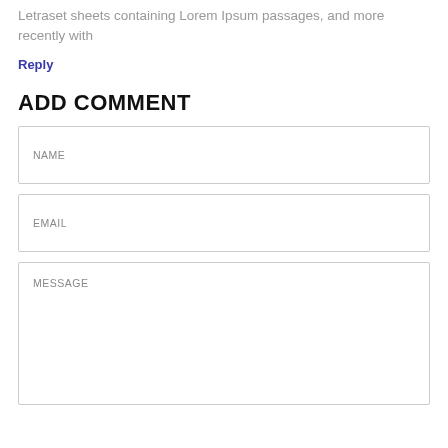Letraset sheets containing Lorem Ipsum passages, and more recently with
Reply
ADD COMMENT
NAME
EMAIL
MESSAGE